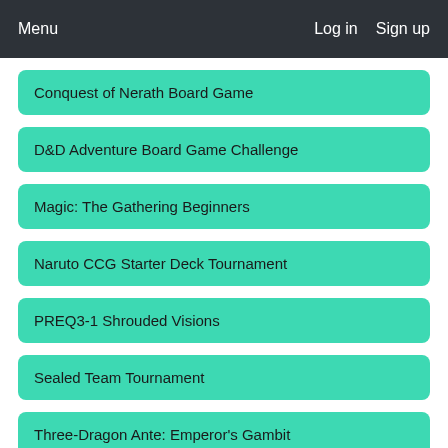Menu  Log in  Sign up
Conquest of Nerath Board Game
D&D Adventure Board Game Challenge
Magic: The Gathering Beginners
Naruto CCG Starter Deck Tournament
PREQ3-1 Shrouded Visions
Sealed Team Tournament
Three-Dragon Ante: Emperor's Gambit
Owen's AD & D 3.5 Gladiatorial arena